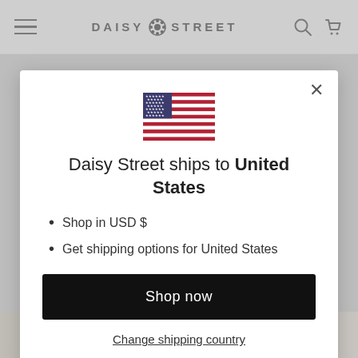DAISY ✿ STREET
[Figure (screenshot): US flag emoji / icon displayed in modal]
Daisy Street ships to United States
Shop in USD $
Get shipping options for United States
Shop now
Change shipping country